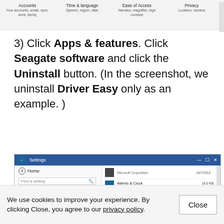[Figure (screenshot): Top portion of Windows 10 Settings screen showing icons for Accounts, Time & language, Ease of Access, and Privacy with a scrollbar on the right]
3) Click Apps & features. Click Seagate software and click the Uninstall button. (In the screenshot, we uninstall Driver Easy only as an example. )
[Figure (screenshot): Windows 10 Settings app showing Apps & features list with Microsoft Corporation entry and Alarms & Clock (Microsoft Corporation, 16.0 KB, 10/7/2016)]
We use cookies to improve your experience. By clicking Close, you agree to our privacy policy.